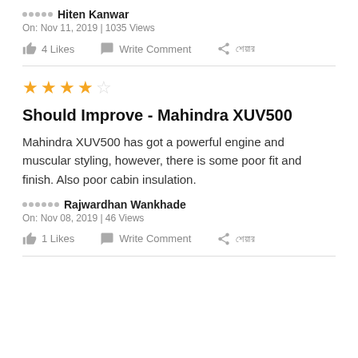◉◉◉◉◉ Hiten Kanwar
On: Nov 11, 2019 | 1035 Views
4 Likes   Write Comment   শেয়ার
★★★★☆
Should Improve - Mahindra XUV500
Mahindra XUV500 has got a powerful engine and muscular styling, however, there is some poor fit and finish. Also poor cabin insulation.
◉◉◉◉◉◉ Rajwardhan Wankhade
On: Nov 08, 2019 | 46 Views
1 Likes   Write Comment   শেয়ার